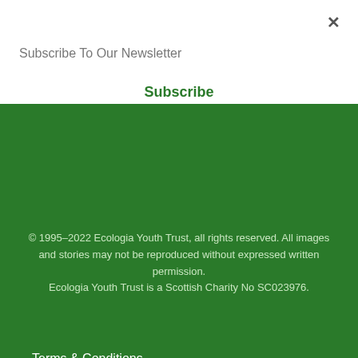Subscribe To Our Newsletter
Subscribe
© 1995–2022 Ecologia Youth Trust, all rights reserved. All images and stories may not be reproduced without expressed written permission.
Ecologia Youth Trust is a Scottish Charity No SC023976.
Terms & Conditions
Privacy Statement
Child Protection Policy
Contact